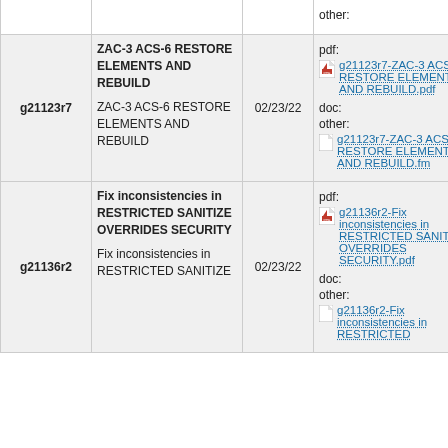| Doc ID | Title | Date | Files | Author |
| --- | --- | --- | --- | --- |
|  |  |  | other: |  |
| g21123r7 | ZAC-3 ACS-6 RESTORE ELEMENTS AND REBUILD (bold)
ZAC-3 ACS-6 RESTORE ELEMENTS AND REBUILD (plain) | 02/23/22 | pdf: g21123r7-ZAC-3 ACS-6 RESTORE ELEMENTS AND REBUILD.pdf
doc:
other: g21123r7-ZAC-3 ACS-6 RESTORE ELEMENTS AND REBUILD.fm | Ji... Ha... |
| g21136r2 | Fix inconsistencies in RESTRICTED SANITIZE OVERRIDES SECURITY (bold)
Fix inconsistencies in RESTRICTED SANITIZE | 02/23/22 | pdf: g21136r2-Fix inconsistencies in RESTRICTED SANITIZE OVERRIDES SECURITY.pdf
doc:
other: g21136r2-Fix inconsistencies in RESTRICTED | Ji... Ha... |